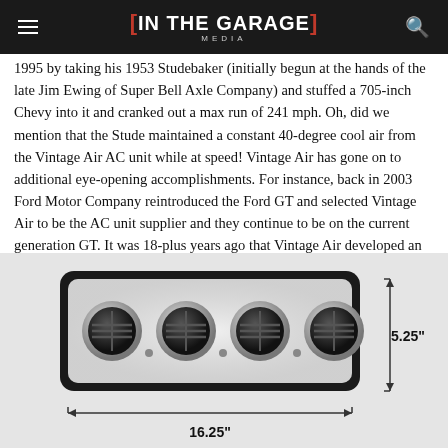[IN THE GARAGE] MEDIA
1995 by taking his 1953 Studebaker (initially begun at the hands of the late Jim Ewing of Super Bell Axle Company) and stuffed a 705-inch Chevy into it and cranked out a max run of 241 mph. Oh, did we mention that the Stude maintained a constant 40-degree cool air from the Vintage Air AC unit while at speed! Vintage Air has gone on to additional eye-opening accomplishments. For instance, back in 2003 Ford Motor Company reintroduced the Ford GT and selected Vintage Air to be the AC unit supplier and they continue to be on the current generation GT. It was 18-plus years ago that Vintage Air developed an AC system for electric vehicles. (Yes, electric hot rods are in our future. —B.B.)Once again, on the leading edge of our industry by supplying what's needed.
[Figure (engineering-diagram): A black automotive AC vent unit with four round chrome-ringed vents on a pearlescent white background, shown with dimension annotations: 5.25 inches height and 16.25 inches width.]